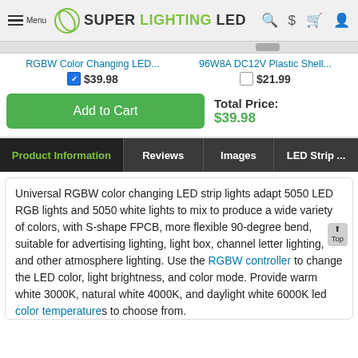Menu | SUPER LIGHTING LED
RGBW Color Changing LED... $39.98 (checked)
96W8A DC12V Plastic Shell... $21.99 (unchecked)
Add to Cart   Total Price: $39.98
Product Information | Reviews | Images | LED Strip ...
Universal RGBW color changing LED strip lights adapt 5050 LED RGB lights and 5050 white lights to mix to produce a wide variety of colors, with S-shape FPCB, more flexible 90-degree bend, suitable for advertising lighting, light box, channel letter lighting, and other atmosphere lighting. Use the RGBW controller to change the LED color, light brightness, and color mode. Provide warm white 3000K, natural white 4000K, and daylight white 6000K led color temperatures to choose from.